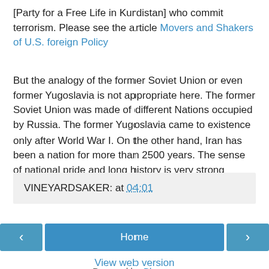[Party for a Free Life in Kurdistan] who commit terrorism. Please see the article Movers and Shakers of U.S. foreign Policy
But the analogy of the former Soviet Union or even former Yugoslavia is not appropriate here. The former Soviet Union was made of different Nations occupied by Russia. The former Yugoslavia came to existence only after World War I. On the other hand, Iran has been a nation for more than 2500 years. The sense of national pride and long history is very strong amongst the vast majority of Iranians.
VINEYARDSAKER: at 04:01
Home
View web version
Powered by Blogger.